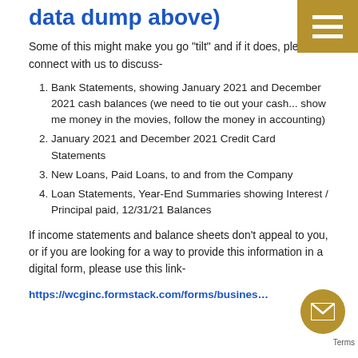data dump above)
Some of this might make you go “tilt” and if it does, please connect with us to discuss-
Bank Statements, showing January 2021 and December 2021 cash balances (we need to tie out your cash... show me money in the movies, follow the money in accounting)
January 2021 and December 2021 Credit Card Statements
New Loans, Paid Loans, to and from the Company
Loan Statements, Year-End Summaries showing Interest / Principal paid, 12/31/21 Balances
If income statements and balance sheets don’t appeal to you, or if you are looking for a way to provide this information in a digital form, please use this link-
https://wcginc.formstack.com/forms/busines…